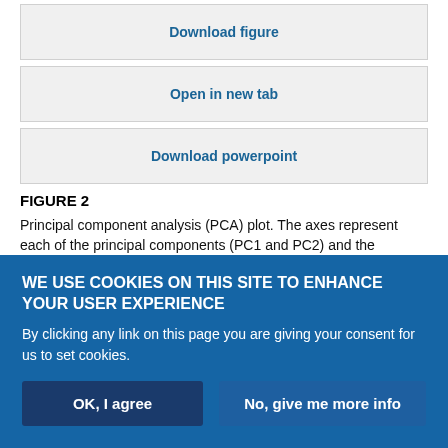Download figure
Open in new tab
Download powerpoint
FIGURE 2
Principal component analysis (PCA) plot. The axes represent each of the principal components (PC1 and PC2) and the proportion of the variation explained is shown in brackets. OTU: operational taxonomic unit.
TABLE 5
Clinical and inflammatory characteristics of patients with or without...
View inline
WE USE COOKIES ON THIS SITE TO ENHANCE YOUR USER EXPERIENCE
By clicking any link on this page you are giving your consent for us to set cookies.
OK, I agree | No, give me more info